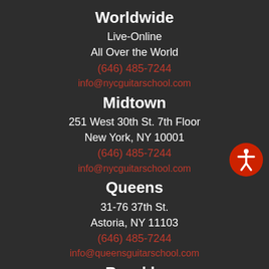Worldwide
Live-Online
All Over the World
(646) 485-7244
info@nycguitarschool.com
Midtown
251 West 30th St. 7th Floor
New York, NY 10001
(646) 485-7244
info@nycguitarschool.com
Queens
31-76 37th St.
Astoria, NY 11103
(646) 485-7244
info@queensguitarschool.com
Brooklyn